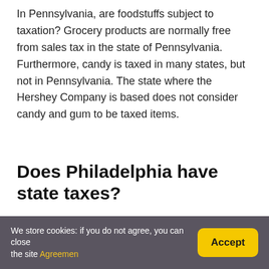In Pennsylvania, are foodstuffs subject to taxation? Grocery products are normally free from sales tax in the state of Pennsylvania. Furthermore, candy is taxed in many states, but not in Pennsylvania. The state where the Hershey Company is based does not consider candy and gum to be taxed items.
Does Philadelphia have state taxes?
Pennylvania personal income tax is levied at a rate of
We store cookies: if you do not agree, you can close the site Agreemen